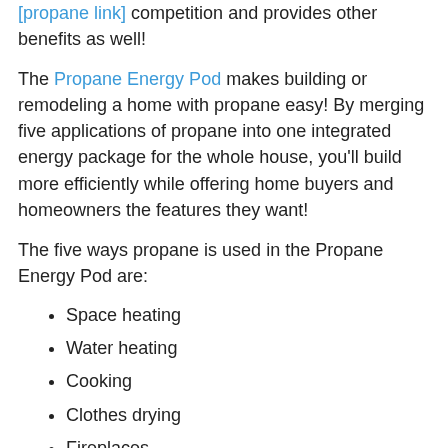competition and provides other benefits as well!
The Propane Energy Pod makes building or remodeling a home with propane easy! By merging five applications of propane into one integrated energy package for the whole house, you'll build more efficiently while offering home buyers and homeowners the features they want!
The five ways propane is used in the Propane Energy Pod are:
Space heating
Water heating
Cooking
Clothes drying
Fireplaces
These increase a home's energy efficiency while adding features that homebuyers and homeowners want, such as gas cooking, easy and energy-efficient comfort, and an